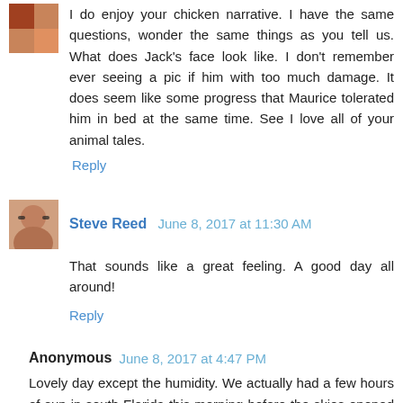I do enjoy your chicken narrative. I have the same questions, wonder the same things as you tell us. What does Jack's face look like. I don't remember ever seeing a pic if him with too much damage. It does seem like some progress that Maurice tolerated him in bed at the same time. See I love all of your animal tales.
Reply
Steve Reed  June 8, 2017 at 11:30 AM
That sounds like a great feeling. A good day all around!
Reply
Anonymous  June 8, 2017 at 4:47 PM
Lovely day except the humidity. We actually had a few hours of sun in south Florida this morning before the skies opened up again. My Charlie and Clarice constantly spat too but also manage to share our bed. Who knows what they fight about. Love to you.
Xoxo